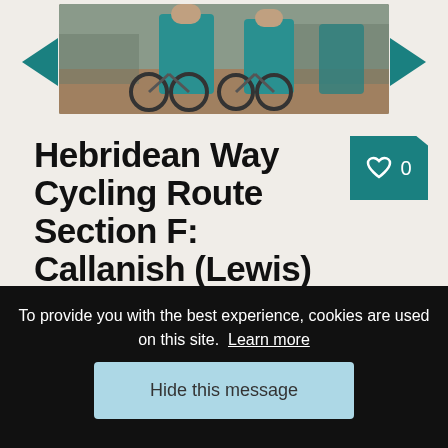[Figure (photo): Photo of cyclists with mountain bikes, seen from behind, wearing teal/turquoise clothing]
Hebridean Way Cycling Route Section F: Callanish (Lewis) to Butt of Lewis
Islands: 1 (Lewis)
Causeways:0
Ferries: 0
Distance: 26 miles
To provide you with the best experience, cookies are used on this site. Learn more
Hide this message